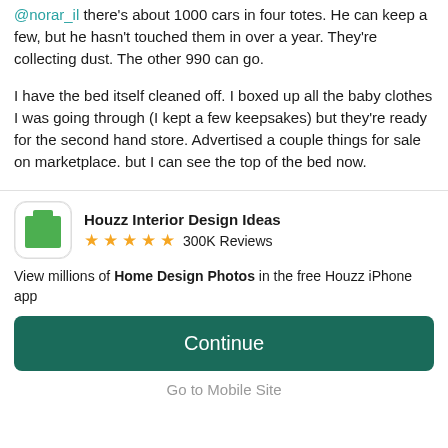@norar_il there's about 1000 cars in four totes. He can keep a few, but he hasn't touched them in over a year. They're collecting dust. The other 990 can go.
I have the bed itself cleaned off. I boxed up all the baby clothes I was going through (I kept a few keepsakes) but they're ready for the second hand store. Advertised a couple things for sale on marketplace. but I can see the top of the bed now.
[Figure (screenshot): Houzz Interior Design Ideas app banner with green icon, 5 stars, and 300K Reviews]
View millions of Home Design Photos in the free Houzz iPhone app
Continue
Go to Mobile Site